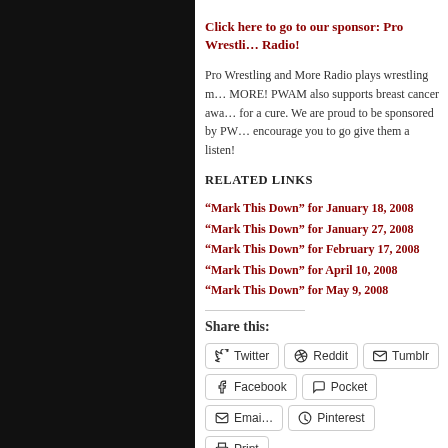Click here to go to our sponsor: Pro Wrestling and More Radio!
Pro Wrestling and More Radio plays wrestling music and MORE! PWAM also supports breast cancer awareness and fights for a cure. We are proud to be sponsored by PW and encourage you to go give them a listen!
RELATED LINKS
“Mark This Down” for January 18, 2008
“Mark This Down” for January 27, 2008
“Mark This Down” for February 17, 2008
“Mark This Down” for April 10, 2008
“Mark This Down” for May 9, 2008
Share this:
Twitter  Reddit  Tumblr  Facebook  Pocket  Email  Pinterest  Print
Loading...